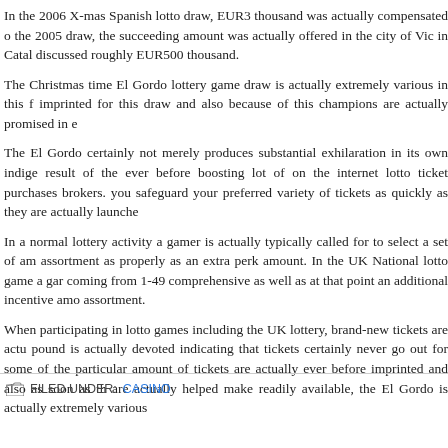In the 2006 X-mas Spanish lotto draw, EUR3 thousand was actually compensated of the 2005 draw, the succeeding amount was actually offered in the city of Vic in Catalo discussed roughly EUR500 thousand.
The Christmas time El Gordo lottery game draw is actually extremely various in this imprinted for this draw and also because of this champions are actually promised in e
The El Gordo certainly not merely produces substantial exhilaration in its own indige result of the ever before boosting lot of on the internet lotto ticket purchases brokers. you safeguard your preferred variety of tickets as quickly as they are actually launche
In a normal lottery activity a gamer is actually typically called for to select a set of am assortment as properly as an extra perk amount. In the UK National lotto game a gar coming from 1-49 comprehensive as well as at that point an additional incentive amo assortment.
When participating in lotto games including the UK lottery, brand-new tickets are actu pound is actually devoted indicating that tickets certainly never go out for some of the particular amount of tickets are actually ever before imprinted and also as soon as th are actually helped make readily available, the El Gordo is actually extremely various
FILED UNDER: CASINO